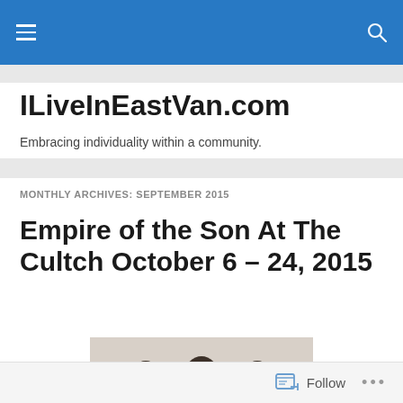ILiveInEastVan.com navigation bar
ILiveInEastVan.com
Embracing individuality within a community.
MONTHLY ARCHIVES: SEPTEMBER 2015
Empire of the Son At The Cultch October 6 – 24, 2015
[Figure (photo): Three people posing together, one wearing round sunglasses in the center, viewed from slightly above]
Follow ...